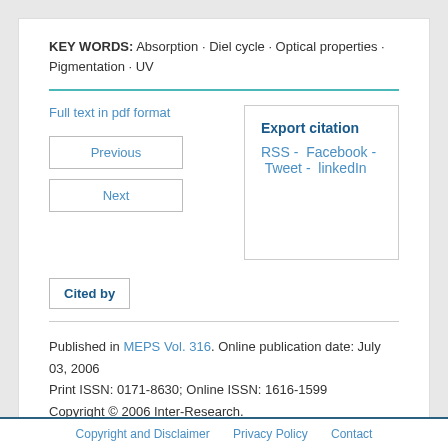KEY WORDS: Absorption · Diel cycle · Optical properties · Pigmentation · UV
Full text in pdf format
Previous
Next
Export citation
RSS - Facebook - Tweet - linkedIn
Cited by
Published in MEPS Vol. 316. Online publication date: July 03, 2006
Print ISSN: 0171-8630; Online ISSN: 1616-1599
Copyright © 2006 Inter-Research.
Copyright and Disclaimer   Privacy Policy   Contact